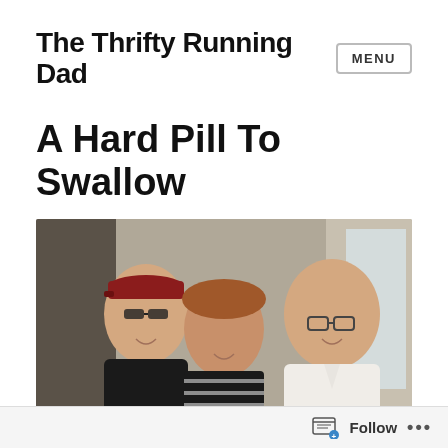The Thrifty Running Dad
A Hard Pill To Swallow
[Figure (photo): Three people posing together indoors. On the left is a man wearing a black NC State Wolfpack shirt and a red cap. In the center is a woman wearing a black and white striped top. On the right is a man wearing a white polo shirt and glasses. They are smiling at the camera.]
Follow ...